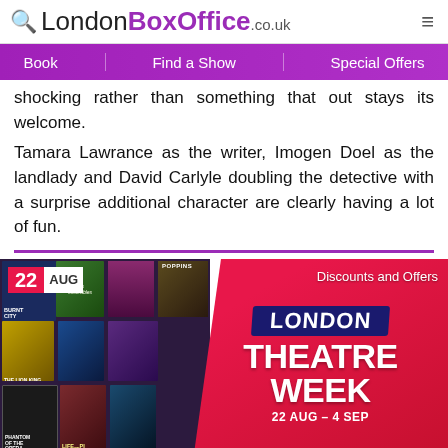LondonBoxOffice.co.uk
shocking rather than something that out stays its welcome.
Tamara Lawrance as the writer, Imogen Doel as the landlady and David Carlyle doubling the detective with a surprise additional character are clearly having a lot of fun.
[Figure (photo): London Theatre Week promotional banner with show posters collage on left, red/pink overlay on right with LONDON THEATRE WEEK text and 22 AUG date badge. Shows 22 AUG – 4 SEP dates.]
LONDON THEATRE WEEK returns bigger